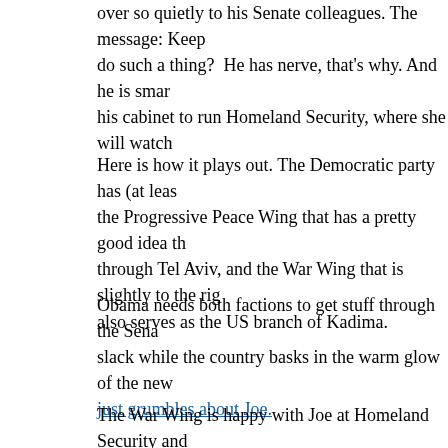over so quietly to his Senate colleagues. The message: Keep do such a thing? He has nerve, that's why. And he is smart his cabinet to run Homeland Security, where she will watch
Here is how it plays out. The Democratic party has (at least the Progressive Peace Wing that has a pretty good idea th through Tel Aviv, and the War Wing that is slightly to the ri also serves as the US branch of Kadima.
Obama needs both factions to get stuff through the Sena slack while the country basks in the warm glow of the new just grumbles about Joe.
The War Wing is happy with Joe at Homeland Security and is a member of the Democratic War Wing; think back, pilgrim admit she was wrong on her Iraq vote. Speaking on the Ser linked Al Qaeda to Saddam. The Republican Right would we
You need evidence of the War Wing in action? Start with th